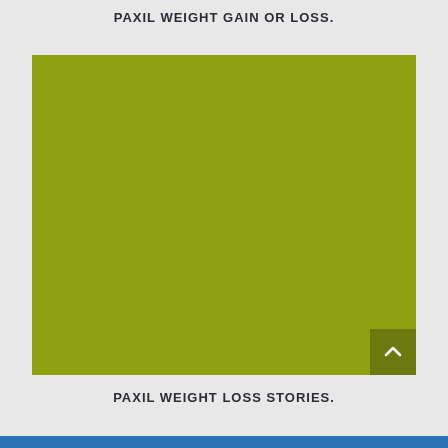PAXIL WEIGHT GAIN OR LOSS.
[Figure (other): Large olive/yellow-green colored rectangular image placeholder with a scroll-to-top button in the bottom right corner]
PAXIL WEIGHT LOSS STORIES.